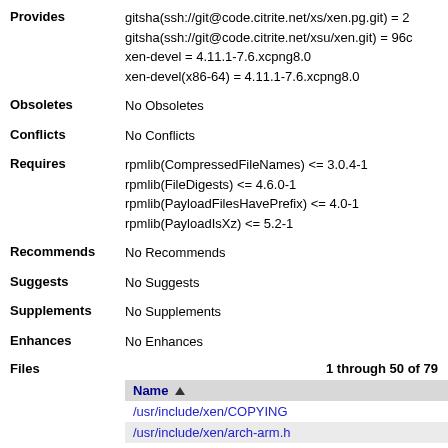Provides: gitsha(ssh://git@code.citrite.net/xs/xen.pg.git) = 2... gitsha(ssh://git@code.citrite.net/xsu/xen.git) = 96c... xen-devel = 4.11.1-7.6.xcpng8.0 xen-devel(x86-64) = 4.11.1-7.6.xcpng8.0
Obsoletes: No Obsoletes
Conflicts: No Conflicts
Requires: rpmlib(CompressedFileNames) <= 3.0.4-1 rpmlib(FileDigests) <= 4.6.0-1 rpmlib(PayloadFilesHavePrefix) <= 4.0-1 rpmlib(PayloadIsXz) <= 5.2-1
Recommends: No Recommends
Suggests: No Suggests
Supplements: No Supplements
Enhances: No Enhances
| Name ▲ |
| --- |
| /usr/include/xen/COPYING |
| /usr/include/xen/arch-arm.h |
| /usr/include/xen/arch-arm/hvm/save.h |
| /usr/include/xen/arch-x86/cpufeatureset.h |